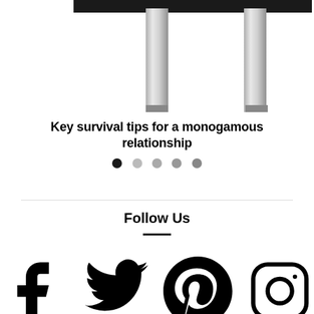[Figure (illustration): Partial top view of furniture (table/desk) legs in silver/chrome style, cropped at top of page]
Key survival tips for a monogamous relationship
[Figure (other): Carousel navigation dots: one filled black dot followed by four lighter gray dots]
Follow Us
[Figure (other): Social media icons: Facebook, Twitter, Pinterest, Instagram]